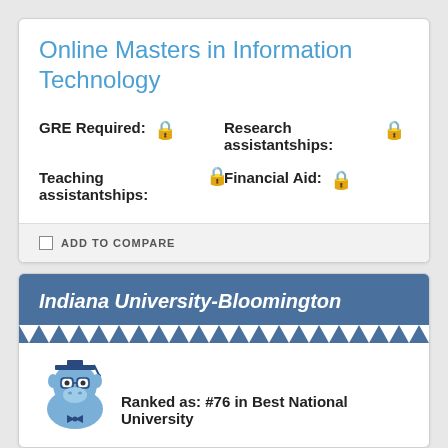Online Masters in Information Technology
GRE Required: 🔒   Research assistantships: 🔒   Teaching assistantships: 🔒   Financial Aid: 🔒
ADD TO COMPARE
Indiana University-Bloomington
[Figure (illustration): Cartoon blue hippo mascot wearing graduation cap and glasses]
Ranked as: #76 in Best National University